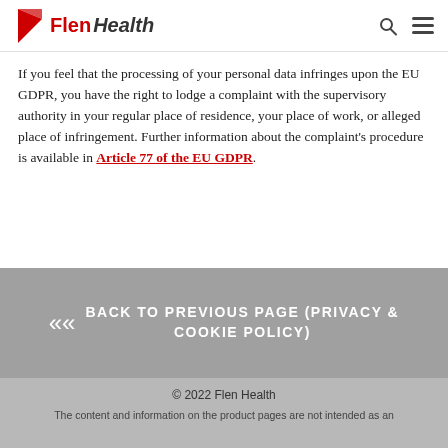Flen Health
If you feel that the processing of your personal data infringes upon the EU GDPR, you have the right to lodge a complaint with the supervisory authority in your regular place of residence, your place of work, or alleged place of infringement. Further information about the complaint's procedure is available in Article 77 of the EU GDPR.
BACK TO PREVIOUS PAGE (PRIVACY & COOKIE POLICY)
© 2022 Flen Health
The content and information on the product pages are not intended as an